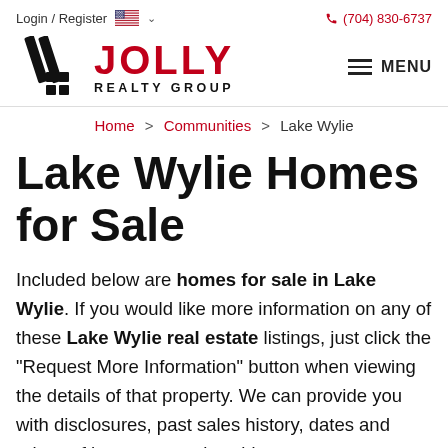Login / Register   (704) 830-6737
[Figure (logo): Jolly Realty Group logo with diagonal slash mark icon and MENU hamburger button]
Home > Communities > Lake Wylie
Lake Wylie Homes for Sale
Included below are homes for sale in Lake Wylie. If you would like more information on any of these Lake Wylie real estate listings, just click the "Request More Information" button when viewing the details of that property. We can provide you with disclosures, past sales history, dates and prices of homes recently sold